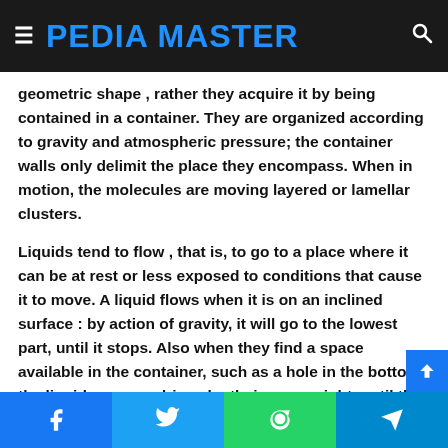PEDIA MASTER
geometric shape , rather they acquire it by being contained in a container. They are organized according to gravity and atmospheric pressure; the container walls only delimit the place they encompass. When in motion, the molecules are moving layered or lamellar clusters.
Liquids tend to flow , that is, to go to a place where it can be at rest or less exposed to conditions that cause it to move. A liquid flows when it is on an inclined surface : by action of gravity, it will go to the lowest part, until it stops. Also when they find a space available in the container, such as a hole in the bottom, the liquids escape driven by their own weight, until they reach the level of
Facebook Twitter WhatsApp Telegram